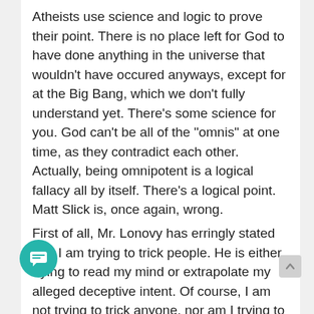Atheists use science and logic to prove their point. There is no place left for God to have done anything in the universe that wouldn't have occured anyways, except for at the Big Bang, which we don't fully understand yet. There's some science for you. God can't be all of the "omnis" at one time, as they contradict each other. Actually, being omnipotent is a logical fallacy all by itself. There's a logical point. Matt Slick is, once again, wrong.
First of all, Mr. Lonovy has erringly stated that I am trying to trick people. He is either trying to read my mind or extrapolate my alleged deceptive intent. Of course, I am not trying to trick anyone, nor am I trying to convince anyone that atheists are liars. I do, however, maintain that atheism is, to a large extent, a matter of faith and not evidence with atheists – but that is another subject. Mr. Lonovy states that I am making false claims about atheism, but he does not mention what they are.
Lonovy continues and makes several unsubstantiated claims. For example, he says, "Atheists use science and lo to prove their point. There is no place left for God to have